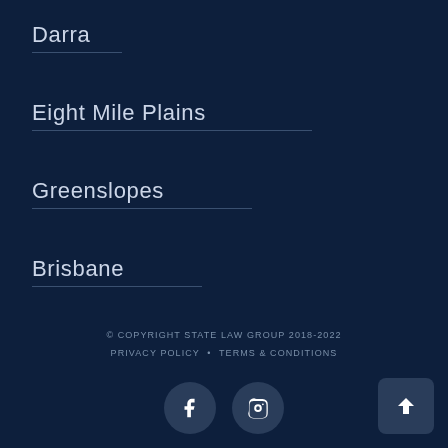Darra
Eight Mile Plains
Greenslopes
Brisbane
© COPYRIGHT STATE LAW GROUP 2018-2022  PRIVACY POLICY • TERMS & CONDITIONS